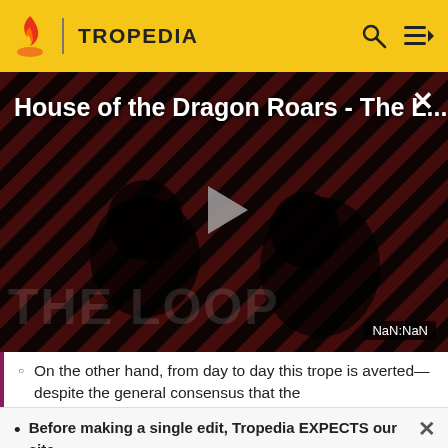TROPEDIA
[Figure (screenshot): Video player thumbnail for 'House of the Dragon Roars - The L...' with diagonal red and black stripes background, two dark figure silhouettes, a play button in the center, 'THE LOOP' text watermark, and 'NaN:NaN' duration label in the bottom right corner.]
On the other hand, from day to day this trope is averted—despite the general consensus that the
Before making a single edit, Tropedia EXPECTS our site policy and manual of style to be followed. Failure to do so may
READ MORE